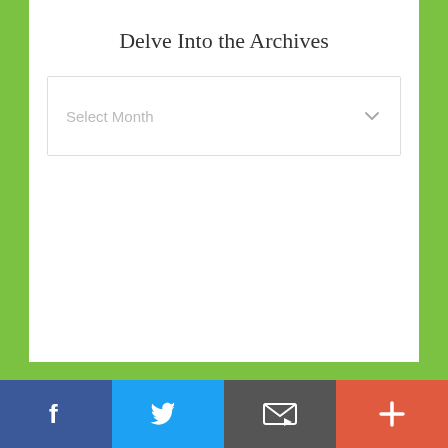Delve Into the Archives
[Figure (screenshot): Dropdown select box with placeholder text 'Select Month' and chevron arrow on the right]
Visit Our Online Simple Living Shop
[Figure (logo): Two teal/turquoise leaf shapes forming a butterfly/leaf logo above the word 'little' in teal cursive script]
Social share bar with Facebook, Twitter, Email, and Plus buttons